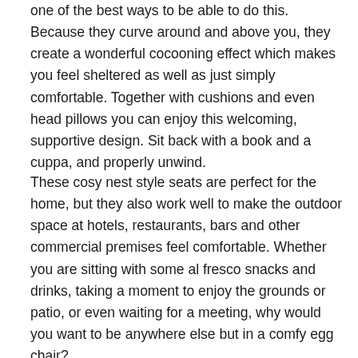one of the best ways to be able to do this. Because they curve around and above you, they create a wonderful cocooning effect which makes you feel sheltered as well as just simply comfortable. Together with cushions and even head pillows you can enjoy this welcoming, supportive design. Sit back with a book and a cuppa, and properly unwind.
These cosy nest style seats are perfect for the home, but they also work well to make the outdoor space at hotels, restaurants, bars and other commercial premises feel comfortable. Whether you are sitting with some al fresco snacks and drinks, taking a moment to enjoy the grounds or patio, or even waiting for a meeting, why would you want to be anywhere else but in a comfy egg chair?